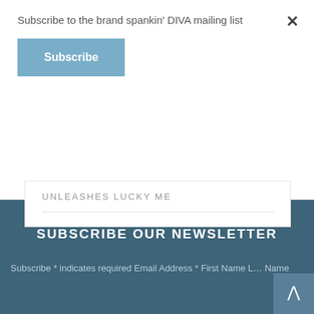Subscribe to the brand spankin' DIVA mailing list
Subscribe
UNLEASHES LUCKY ME
SUBSCRIBE OUR NEWSLETTER
Subscribe * indicates required Email Address * First Name Last Name